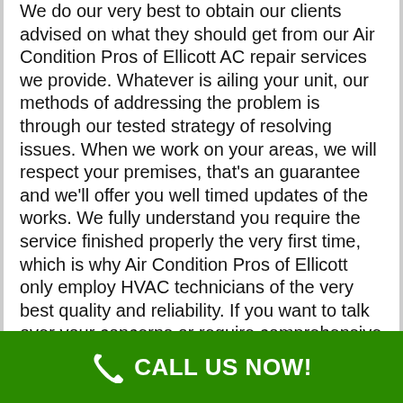We do our very best to obtain our clients advised on what they should get from our Air Condition Pros of Ellicott AC repair services we provide. Whatever is ailing your unit, our methods of addressing the problem is through our tested strategy of resolving issues. When we work on your areas, we will respect your premises, that's an guarantee and we'll offer you well timed updates of the works. We fully understand you require the service finished properly the very first time, which is why Air Condition Pros of Ellicott only employ HVAC technicians of the very best quality and reliability. If you want to talk over your concerns or require comprehensive impartial information about your heating system, then do not think twice to make contact with our very helpful team, who are waiting around for your call.
Whether you are a residential householder or a commercial company in Ellicott NY requiring A/C repair, Air Condition Pros of Ellicott are here to aid.
CALL US NOW!